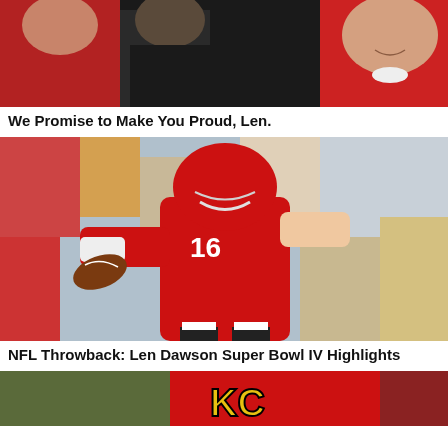[Figure (photo): Two people in red clothing shaking hands or greeting, with an older man smiling on the right side. Close-up shot with dark background.]
We Promise to Make You Proud, Len.
[Figure (photo): NFL quarterback wearing Kansas City Chiefs red jersey number 16, preparing to throw a football, with a packed stadium crowd in the background.]
NFL Throwback: Len Dawson Super Bowl IV Highlights
[Figure (photo): Close-up of a Kansas City Chiefs red helmet with the KC logo visible.]